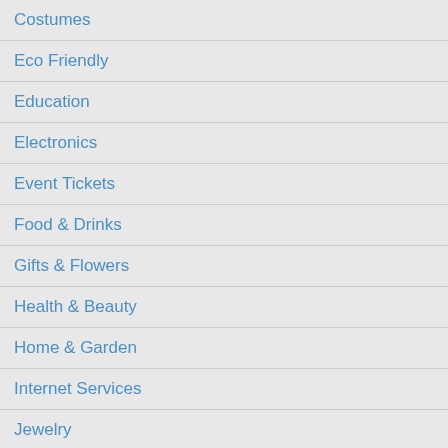Costumes
Eco Friendly
Education
Electronics
Event Tickets
Food & Drinks
Gifts & Flowers
Health & Beauty
Home & Garden
Internet Services
Jewelry
Jobs & Career Services